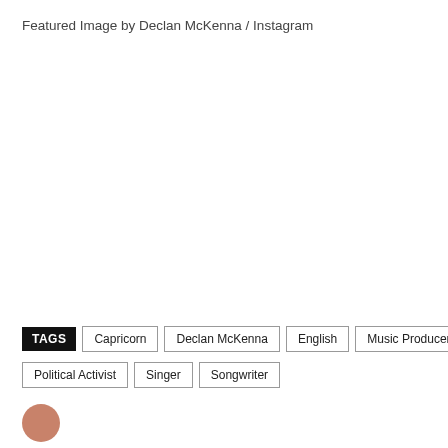Featured Image by Declan McKenna / Instagram
TAGS  Capricorn  Declan McKenna  English  Music Producer  Political Activist  Singer  Songwriter